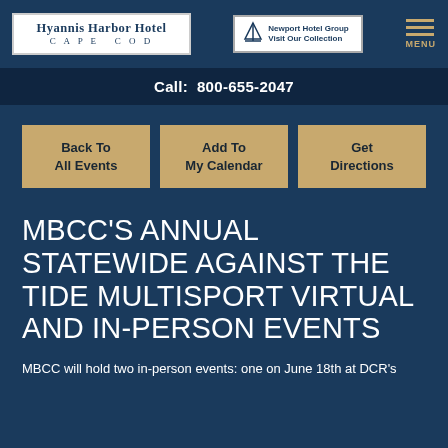Hyannis Harbor Hotel CAPE COD | Newport Hotel Group Visit Our Collection | MENU
Call:  800-655-2047
Back To All Events
Add To My Calendar
Get Directions
MBCC'S ANNUAL STATEWIDE AGAINST THE TIDE MULTISPORT VIRTUAL AND IN-PERSON EVENTS
MBCC will hold two in-person events: one on June 18th at DCR's